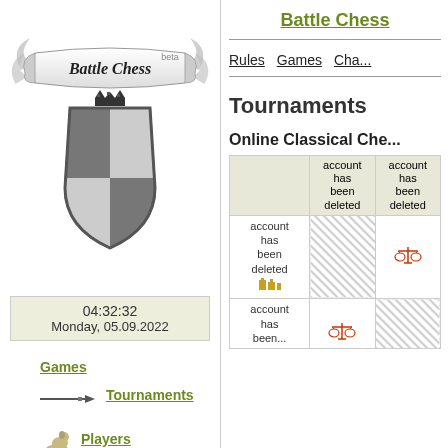[Figure (logo): Battle Chess beta logo with knight chess piece on shield, banner with gothic text]
04:32:32
Monday, 05.09.2022
Games
Tournaments
Players
Battle Chess
Rules   Games   Cha...
Tournaments
Online Classical Che...
|  | account has been deleted | account has been deleted |
| --- | --- | --- |
| account has been deleted | [hatch] | [balance icon] |
| account has been deleted |  | [hatch] |